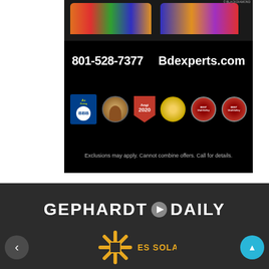[Figure (photo): Black Diamond Experts advertisement showing branded trucks at top, phone number 801-528-7377 and website Bdexperts.com in white text on black background, award badges including BBB, Angi 2020, gold medal, Utah Valley Best badges, and disclaimer text at bottom]
[Figure (logo): Gephardt Daily logo in white text with play button icon on dark background, followed by ABOUT US text]
[Figure (logo): ES Solar logo with snowflake/asterisk style icon in gold/yellow color on dark background, with navigation arrows on left and right]